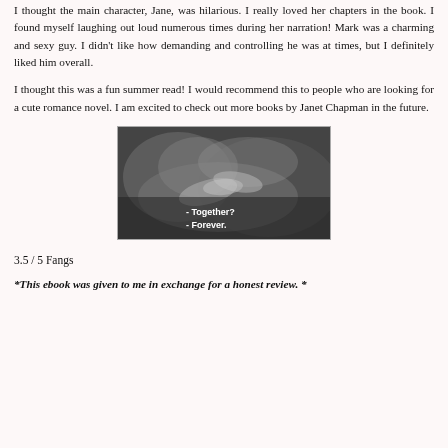I thought the main character, Jane, was hilarious. I really loved her chapters in the book. I found myself laughing out loud numerous times during her narration! Mark was a charming and sexy guy. I didn't like how demanding and controlling he was at times, but I definitely liked him overall.

I thought this was a fun summer read! I would recommend this to people who are looking for a cute romance novel. I am excited to check out more books by Janet Chapman in the future.
[Figure (photo): Black and white romantic photo of two people holding hands, with white text overlay reading '- Together? - Forever.']
3.5 / 5 Fangs
*This ebook was given to me in exchange for a honest review. *